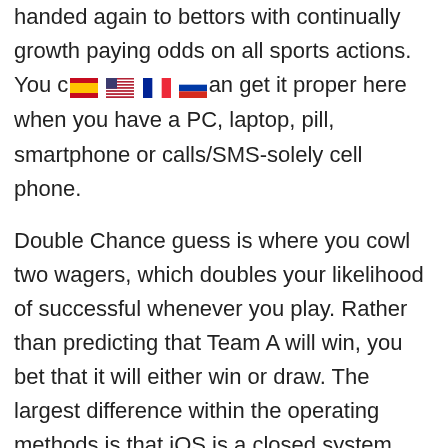handed again to bettors with continually growth paying odds on all sports actions. You can get it proper here when you have a PC, laptop, pill, smartphone or calls/SMS-solely cell phone.
[Figure (illustration): Four country flag icons: Spain, USA, France, Russia]
Double Chance guess is where you cowl two wagers, which doubles your likelihood of successful whenever you play. Rather than predicting that Team A will win, you bet that it will either win or draw. The largest difference within the operating methods is that iOS is a closed system, whereas Android is more open. Apart from that iOS purposes are downloadable via the Apple App Store whereas Android Apps are discovered at the Google Play Store. Nowadays, Android is probably the most used smartphone platform by mobile